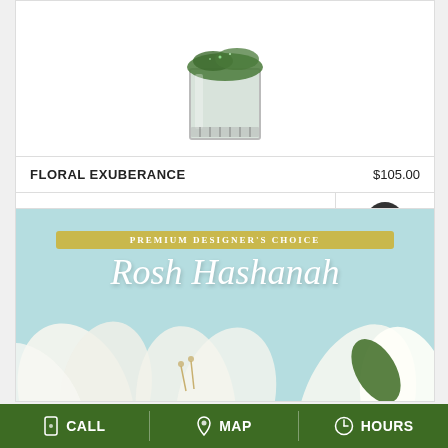[Figure (photo): Floral arrangement in glass cube vase with green moss and flowers]
FLORAL EXUBERANCE   $105.00
BUY NOW
[Figure (photo): Rosh Hashanah Premium Designer's Choice floral arrangement with white lilies and roses on light blue background]
CALL   MAP   HOURS